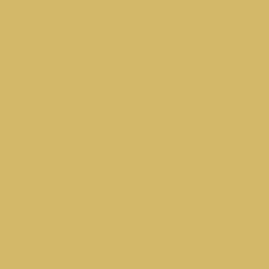15842 15843 15844 15845 15846 15847 15848 15849 15850 15851 15852 15853 15854 15855 15856 15857 15858 15859 15860 15861 15862 15863 15864 15865 15866 15867 15868 15869 15870 15871 15872 15873 15874 15875 15876 15877 15878 15879 15880 15881 15882 15883 15884 15885 15886 15887 15888 15889 15890 15891 15892 15893 15894 15895 15896 15897 15898 15899 15900 15901 15902 15903 15904 15905 15906 15907 15908 15909 15910 15911 15912 15913 15914 15915 15916 15917 15918 15919 15920 15921 15922 15923 15924 15925 15926 15927 15928 15929 15930 15931 15932 15933 15934 15935 15936 15937 15938 15939 15940 15941 15942 15943 15944 15945 15946 15947 15948 15949 15950 15951 15952 15953 15954 15955 15956 15957 15958 15959 15960 15961 15962 15963 15964 15965 15966 15967 15968 15969 15970 15971 15972 15973 15974 15975 15976 15977 15978 15979 15980 15981 15982 15983 15984 15985 15986 15987 15988 15989 15990 15991 15992 15993 15994 15995 15996 15997 15998 15999 16000 16001 16002 16003 16004 16005 16006 16007 16008 16009 16010 16011 16012 16013 16014 16015 16016 16017 16018 16019 16020 16021 16022 16023 16024 16025 16026 16027 16028 16029 16030 16031 16032 16033 16034 16035 16036 16037 16038 16039 16040 16041 16042 16043 16044 16045 16046 16047 16048 16049 16050 16051 16052 16053 16054 16055 16056 16057 16058 16059 16060 16061 16062 16063 16064 16065 16066 16067 16068 16069 16070 16071 16072 16073 16074 16075 16076 16077 16078 16079 16080 16081 16082 16083 16084 16085 16086 16087 16088 16089 16090 16091 16092 16093 16094 16095 16096 16097 16098 16099 16100 16101 16102 16103 16104 16105 16106 16107 16108 16109 16110 16111 16112 16113 16114 16115 16116 16117 16118 16119 16120